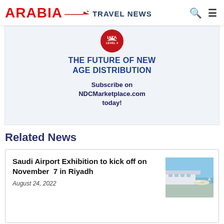ARABIA TRAVEL NEWS
[Figure (illustration): IATA Level 4 badge with red circle and white eagle/wing logo, above promotional text reading THE FUTURE OF NEW AGE DISTRIBUTION - Subscribe on NDCMarketplace.com today!]
Related News
Saudi Airport Exhibition to kick off on November 7 in Riyadh
August 24, 2022